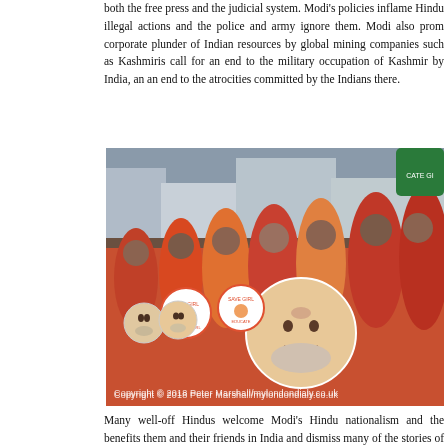both the free press and the judicial system. Modi's policies inflame Hindu illegal actions and the police and army ignore them. Modi also promotes corporate plunder of Indian resources by global mining companies such as Kashmiris call for an end to the military occupation of Kashmir by India, and an end to the atrocities committed by the Indians there.
[Figure (photo): A group of Hindu women dressed in traditional red and orange clothing, holding round placards with 'Save Girl' messages and images of Modi's face. The woman in the foreground holds a large cutout of Modi's face. Taken in an urban setting, copyright 2018 Peter Marshall mylondondialy.co.uk.]
Many well-off Hindus welcome Modi's Hindu nationalism and the benefits them and their friends in India and dismiss many of the stories of atrocities them on others. One was a group of Hindu women, many looking rather to...